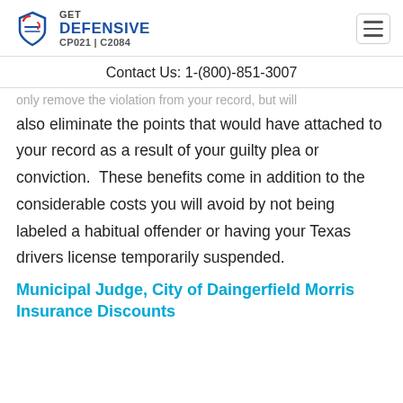GET DEFENSIVE CP021 | C2084
Contact Us: 1-(800)-851-3007
also eliminate the points that would have attached to your record as a result of your guilty plea or conviction.  These benefits come in addition to the considerable costs you will avoid by not being labeled a habitual offender or having your Texas drivers license temporarily suspended.
Municipal Judge, City of Daingerfield Morris Insurance Discounts